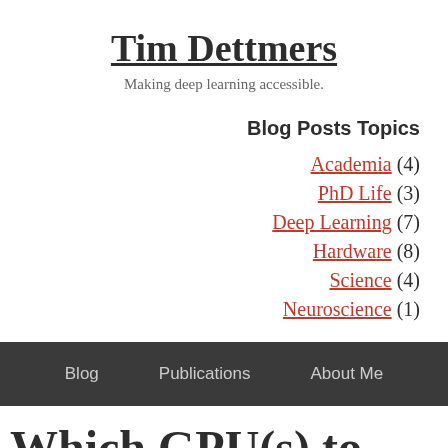Tim Dettmers
Making deep learning accessible.
Blog Posts Topics
Academia (4)
PhD Life (3)
Deep Learning (7)
Hardware (8)
Science (4)
Neuroscience (1)
Blog   Publications   About Me
Which GPU(s) to Get f…